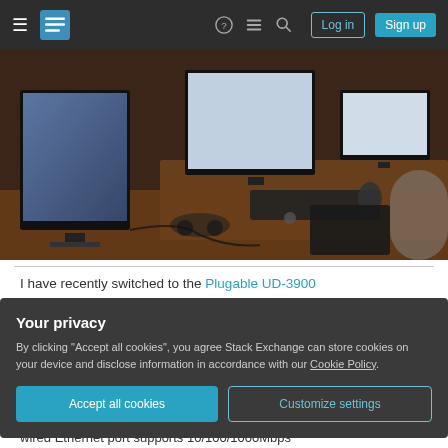Stack Exchange navigation bar with hamburger menu, logo, icons, Log in and Sign up buttons
[Figure (photo): A desk setup with multiple computer monitors showing various applications, keyboard, mouse, headset, and other peripherals on a wooden desk, photographed in dim lighting.]
I have recently switched to the Plugable UD-3900
Your privacy
By clicking "Accept all cookies", you agree Stack Exchange can store cookies on your device and disclose information in accordance with our Cookie Policy.
Accept all cookies   Customize settings
wired Ethernet port supports 10/100/1000Mbps